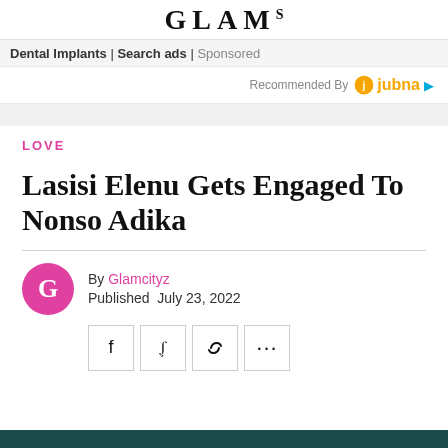GLAM
Dental Implants | Search ads | Sponsored
Recommended By jubna
LOVE
Lasisi Elenu Gets Engaged To Nonso Adika
By Glamcityz
Published July 23, 2022